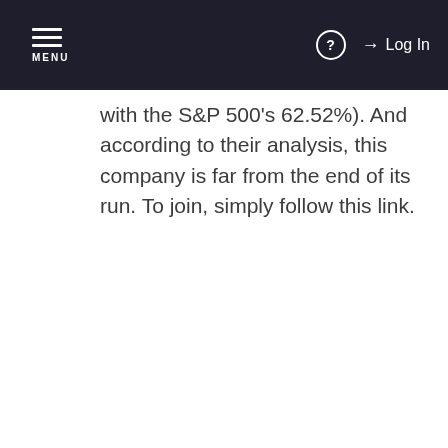MENU | ? | Log In
with the S&P 500's 62.52%). And according to their analysis, this company is far from the end of its run. To join, simply follow this link.